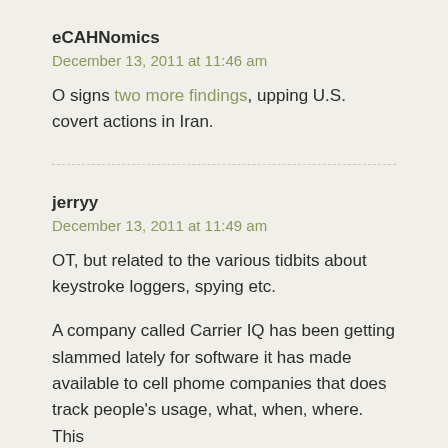eCAHNomics
December 13, 2011 at 11:46 am
O signs two more findings, upping U.S. covert actions in Iran.
jerryy
December 13, 2011 at 11:49 am
OT, but related to the various tidbits about keystroke loggers, spying etc.
A company called Carrier IQ has been getting slammed lately for software it has made available to cell phome companies that does track people's usage, what, when, where. This